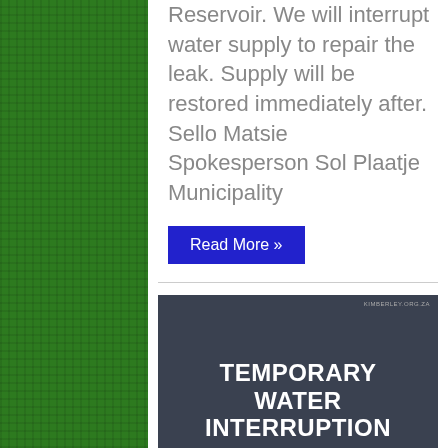Reservoir. We will interrupt water supply to repair the leak. Supply will be restored immediately after. Sello Matsie Spokesperson Sol Plaatje Municipality
Read More »
[Figure (infographic): Dark blue-grey notice board image with white bold text reading 'TEMPORARY WATER INTERRUPTION' and 'NEWTON RESERVOIR', with bottom bar showing 'INFRASTRUCTURE UPDATE / WWW.KIMBERLEY.ORG.ZA' and no-tap icons on either side.]
TEMPORARY WATER